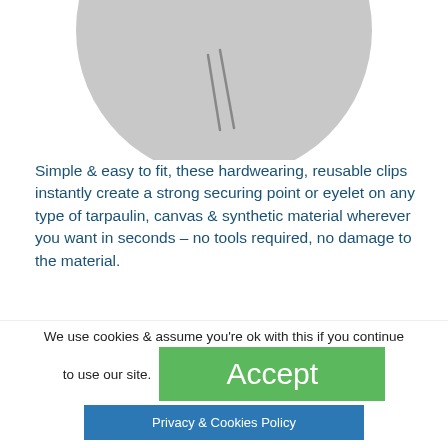[Figure (illustration): Partial view of a grey circular product (clip/eyelet device) shown from above, with two diagonal line markings visible on its surface.]
Simple & easy to fit, these hardwearing, reusable clips instantly create a strong securing point or eyelet on any type of tarpaulin, canvas & synthetic material wherever you want in seconds – no tools required, no damage to the material.
Simple, fast and effective
The heavier the load the tighter the grip
Can be used over and over again
Can easily be repositioned in seconds
We use cookies & assume you're ok with this if you continue to use our site.
Accept
Privacy & Cookies Policy